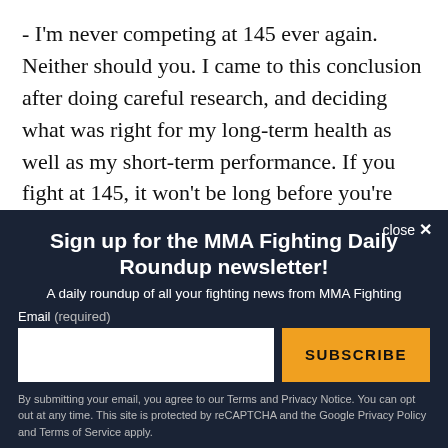- I'm never competing at 145 ever again. Neither should you. I came to this conclusion after doing careful research, and deciding what was right for my long-term health as well as my short-term performance. If you fight at 145, it won't be long before you're eating banana mush in a nuthouse. I am accountable to my family, and my future with them. Because you are an impulsive tyrant surrounded by yes-men, you have no
close ×
Sign up for the MMA Fighting Daily Roundup newsletter!
A daily roundup of all your fighting news from MMA Fighting
Email (required)
SUBSCRIBE
By submitting your email, you agree to our Terms and Privacy Notice. You can opt out at any time. This site is protected by reCAPTCHA and the Google Privacy Policy and Terms of Service apply.